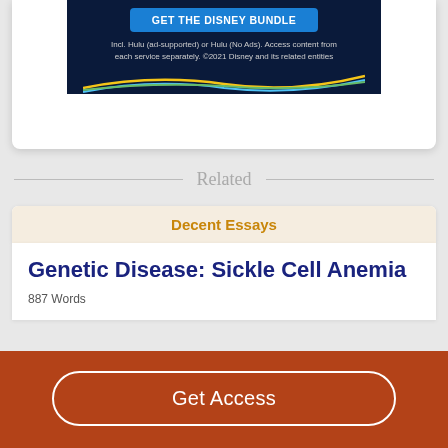[Figure (screenshot): Disney Bundle advertisement banner with blue background, 'GET THE DISNEY BUNDLE' button, and streaming waves graphic. Text: 'Incl. Hulu (ad-supported) or Hulu (No Ads). Access content from each service separately. ©2021 Disney and its related entities']
Related
Decent Essays
Genetic Disease: Sickle Cell Anemia
887 Words
Get Access